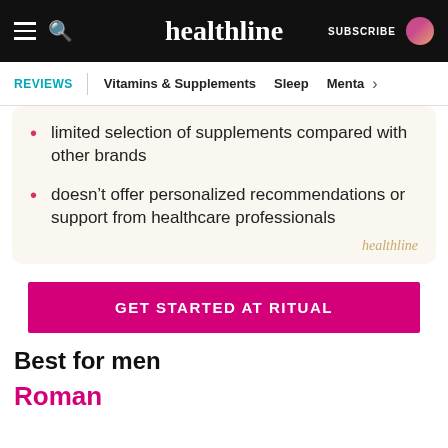healthline — SUBSCRIBE
REVIEWS | Vitamins & Supplements | Sleep | Menta >
limited selection of supplements compared with other brands
doesn't offer personalized recommendations or support from healthcare professionals
GET STARTED AT RITUAL
Best for men
Roman